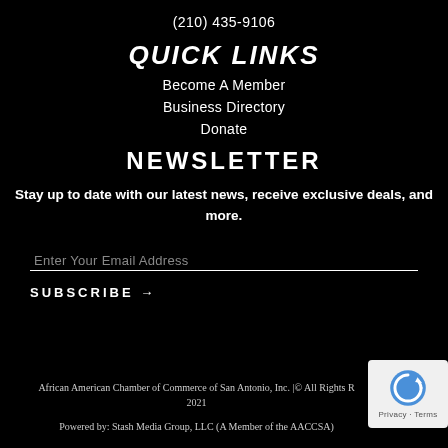(210) 435-9106
QUICK LINKS
Become A Member
Business Directory
Donate
NEWSLETTER
Stay up to date with our latest news, receive exclusive deals, and more.
Enter Your Email Address
SUBSCRIBE →
African American Chamber of Commerce of San Antonio, Inc. | © All Rights R 2021
Powered by: Stash Media Group, LLC (A Member of the AACCSA)